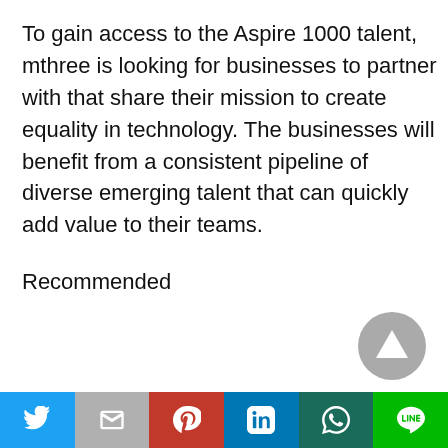To gain access to the Aspire 1000 talent, mthree is looking for businesses to partner with that share their mission to create equality in technology. The businesses will benefit from a consistent pipeline of diverse emerging talent that can quickly add value to their teams.
Recommended
[Figure (other): Scroll-to-top button: circular grey button with upward-pointing triangle/arrow icon]
Social sharing bar with icons: Twitter, Gmail/Email, Pinterest, LinkedIn, WhatsApp, LINE